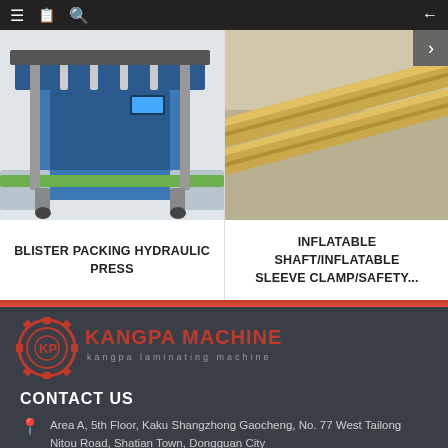Navigation bar with menu, book, search icons and back arrow
[Figure (photo): Blister packing hydraulic press machine, industrial blue and silver equipment]
BLISTER PACKING HYDRAULIC PRESS
[Figure (photo): Inflatable shaft / inflatable sleeve clamp / safety product, gold-colored cylindrical shafts]
INFLATABLE SHAFT/INFLATABLE SLEEVE CLAMP/SAFETY...
[Figure (logo): Kangpa Machine logo - red gear with KP initials, red text KANGPA MACHINE, subtitle kangpa laminating machine]
CONTACT US
Area A, 5th Floor, Kaku Shangzhong Gaocheng, No. 77 West Tailong Nitou Road, Shatian Town, Dongguan City